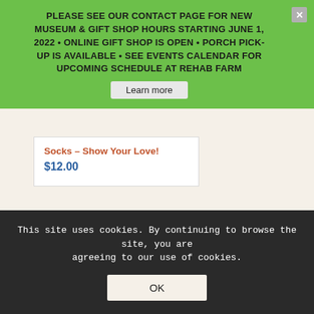PLEASE SEE OUR CONTACT PAGE FOR NEW MUSEUM & GIFT SHOP HOURS STARTING JUNE 1, 2022 • ONLINE GIFT SHOP IS OPEN • PORCH PICK-UP IS AVAILABLE • SEE EVENTS CALENDAR FOR UPCOMING SCHEDULE AT REHAB FARM
Learn more
Socks – Show Your Love!
$12.00
‹ 1 2 3 4 › »   Page 2 of 7
This site uses cookies. By continuing to browse the site, you are agreeing to our use of cookies.
OK